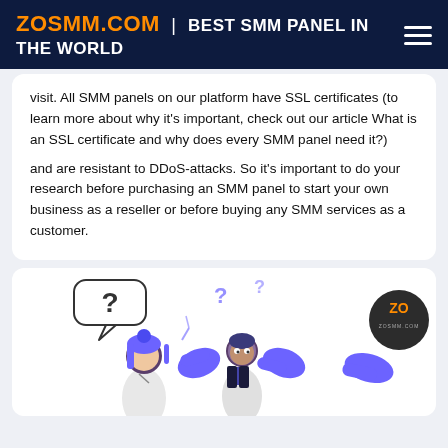ZOSMM.COM | BEST SMM PANEL IN THE WORLD
visit. All SMM panels on our platform have SSL certificates (to learn more about why it's important, check out our article What is an SSL certificate and why does every SMM panel need it?) and are resistant to DDoS-attacks. So it's important to do your research before purchasing an SMM panel to start your own business as a reseller or before buying any SMM services as a customer.
[Figure (illustration): Illustration of people with question marks, featuring characters with blue/purple hair and hands gesturing, with a ZO logo circle in the top right corner]